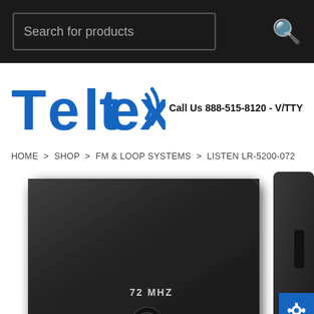Search for products
[Figure (logo): Teltex logo in blue with sound wave icon]
Call Us 888-515-8120 - V/TTY
HOME > SHOP > FM & LOOP SYSTEMS > LISTEN LR-5200-072
[Figure (photo): Product photo of Listen LR-5200-072 FM receiver, a black device with '72 MHZ' label, and a second device shown partially on the right edge]